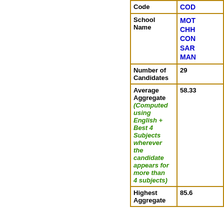| Code | COD... |
| --- | --- |
| School Name | MOT CHH CON SAR MAN |
| Number of Candidates | 29 |
| Average Aggregate (Computed using English + Best 4 Subjects wherever the candidate appears for more than 4 subjects) | 58.33 |
| Highest Aggregate | 85.6 |